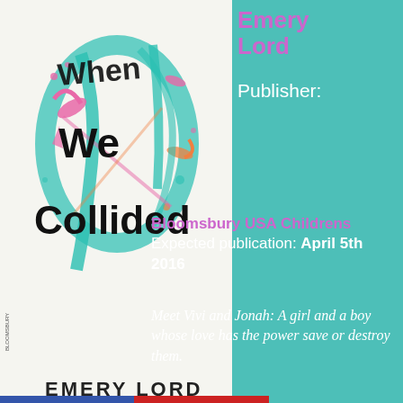[Figure (illustration): Book cover of 'When We Collided' by Emery Lord, showing colorful paint splashes in teal, pink, and orange on a white background with the title in black handwritten font and author name in sans-serif below.]
Emery Lord
Publisher:
Bloomsbury USA Childrens
Expected publication: April 5th 2016
Meet Vivi and Jonah: A girl and a boy whose love has the power save or destroy them.